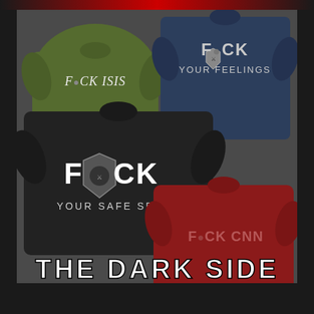[Figure (photo): Product photo showing four t-shirts arranged on a stone/concrete textured background. Top-left: olive green shirt with 'F_CK ISIS' text. Top-right: navy blue shirt with 'F_CK YOUR FEELINGS' text and a Spartan helmet shield logo. Center-left: black shirt with large 'F_CK YOUR SAFE SPACE' text and Spartan helmet shield logo. Bottom-right: red shirt with 'F_CK CNN' text in faded letters. Below the shirts is large white distressed text reading 'THE DARK SIDE'.]